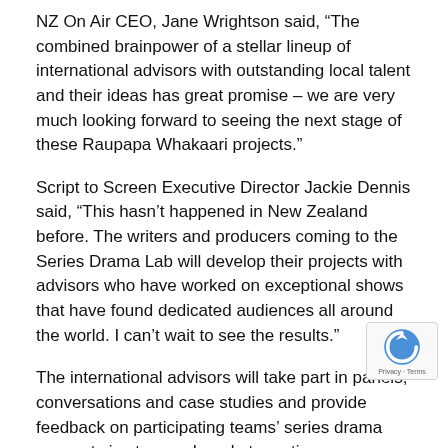NZ On Air CEO, Jane Wrightson said, “The combined brainpower of a stellar lineup of international advisors with outstanding local talent and their ideas has great promise – we are very much looking forward to seeing the next stage of these Raupapa Whakaari projects.”
Script to Screen Executive Director Jackie Dennis said, “This hasn’t happened in New Zealand before. The writers and producers coming to the Series Drama Lab will develop their projects with advisors who have worked on exceptional shows that have found dedicated audiences all around the world. I can’t wait to see the results.”
The international advisors will take part in panels, conversations and case studies and provide feedback on participating teams’ series drama concepts in story and market meetings.
The ten teams have received initial development of $10,000. Following the Series Drama Lab and submission of